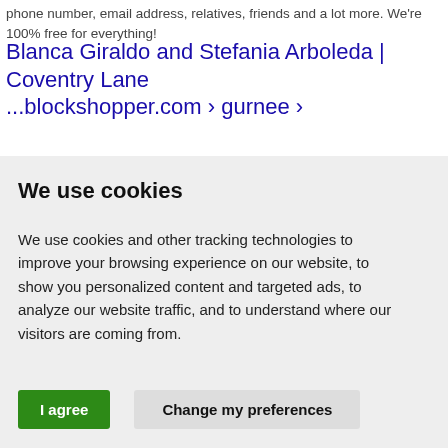phone number, email address, relatives, friends and a lot more. We're 100% free for everything!
Blanca Giraldo and Stefania Arboleda | Coventry Lane ...blockshopper.com › gurnee ›
We use cookies
We use cookies and other tracking technologies to improve your browsing experience on our website, to show you personalized content and targeted ads, to analyze our website traffic, and to understand where our visitors are coming from.
I agree   Change my preferences